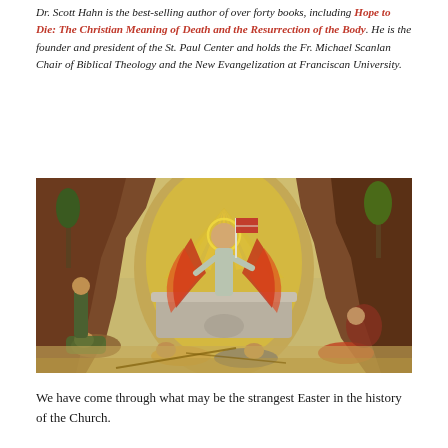Dr. Scott Hahn is the best-selling author of over forty books, including Hope to Die: The Christian Meaning of Death and the Resurrection of the Body. He is the founder and president of the St. Paul Center and holds the Fr. Michael Scanlan Chair of Biblical Theology and the New Evangelization at Franciscan University.
[Figure (illustration): Renaissance painting depicting the Resurrection of Christ. Jesus stands atop a stone sarcophagus rising with a radiant halo and outstretched arms, holding a flag. Surrounding figures of Roman soldiers are fallen or sleeping on the ground. Rocky cave landscape in background with trees and golden sky.]
We have come through what may be the strangest Easter in the history of the Church.